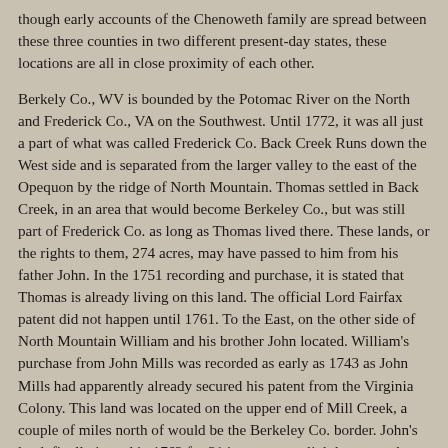though early accounts of the Chenoweth family are spread between these three counties in two different present-day states, these locations are all in close proximity of each other.
Berkely Co., WV is bounded by the Potomac River on the North and Frederick Co., VA on the Southwest. Until 1772, it was all just a part of what was called Frederick Co. Back Creek Runs down the West side and is separated from the larger valley to the east of the Opequon by the ridge of North Mountain. Thomas settled in Back Creek, in an area that would become Berkeley Co., but was still part of Frederick Co. as long as Thomas lived there. These lands, or the rights to them, 274 acres, may have passed to him from his father John. In the 1751 recording and purchase, it is stated that Thomas is already living on this land. The official Lord Fairfax patent did not happen until 1761. To the East, on the other side of North Mountain William and his brother John located. William's purchase from John Mills was recorded as early as 1743 as John Mills had apparently already secured his patent from the Virginia Colony. This land was located on the upper end of Mill Creek, a couple of miles north of would be the Berkeley Co. border. John's land, finally issued in 1762 for 314 acres, was slightly east and south of William, closer to the eventual border, but still in what would become Berkeley Co. A passage for this area between the Back Creek area and the Mill Creek area through North Mountain was an access called Mills Gap.